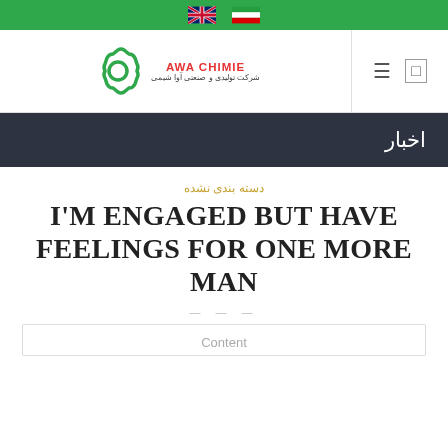[UK flag] [Iran flag]
[Figure (logo): AWA CHIMIE logo with gear icon and Persian text: شرکت تولیدی و صنعتی آوا شیمی]
اخبار
دسته بندی نشده
I'M ENGAGED BUT HAVE FEELINGS FOR ONE MORE MAN
Content